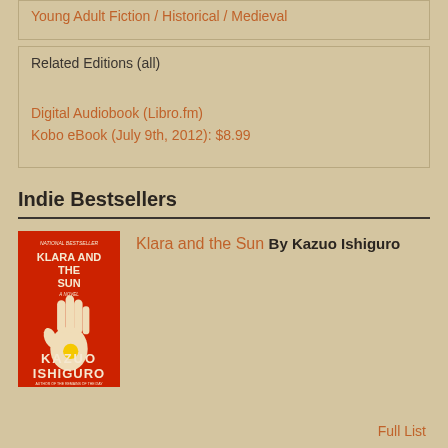Young Adult Fiction / Historical / Medieval
Related Editions (all)
Digital Audiobook (Libro.fm)
Kobo eBook (July 9th, 2012): $8.99
Indie Bestsellers
[Figure (illustration): Book cover of Klara and the Sun by Kazuo Ishiguro - red background with a white/cream hand silhouette holding a yellow sun circle]
Klara and the Sun
By Kazuo Ishiguro
Full List